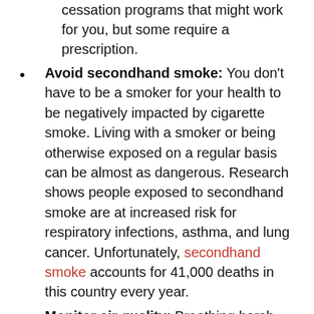cessation programs that might work for you, but some require a prescription.
Avoid secondhand smoke: You don't have to be a smoker for your health to be negatively impacted by cigarette smoke. Living with a smoker or being otherwise exposed on a regular basis can be almost as dangerous. Research shows people exposed to secondhand smoke are at increased risk for respiratory infections, asthma, and lung cancer. Unfortunately, secondhand smoke accounts for 41,000 deaths in this country every year.
Monitor air quality: Breathing harsh chemicals can also weaken the lungs. Protect yourself by avoiding household cleaners, lawn care products, and paints that contain strong chemicals. Opt for